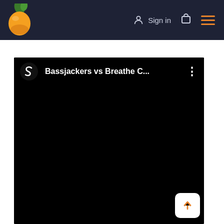FL Studio website header with logo, Sign in, cart, and hamburger menu
[Figure (screenshot): Embedded video player showing 'Bassjackers vs Breathe C...' with Spinnin Records logo on black background]
[Figure (other): Scroll-to-top button with orange upward arrow on white rounded square]